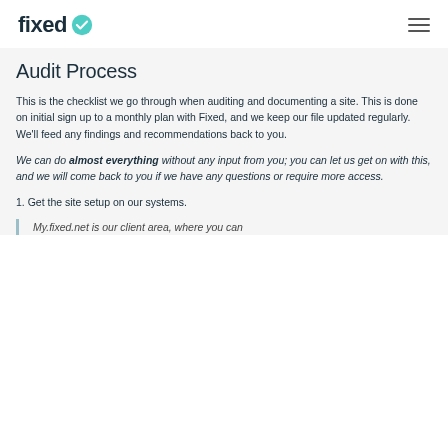fixed (logo with checkmark)
Audit Process
This is the checklist we go through when auditing and documenting a site. This is done on initial sign up to a monthly plan with Fixed, and we keep our file updated regularly. We'll feed any findings and recommendations back to you.
We can do almost everything without any input from you; you can let us get on with this, and we will come back to you if we have any questions or require more access.
1. Get the site setup on our systems.
My.fixed.net is our client area, where you can